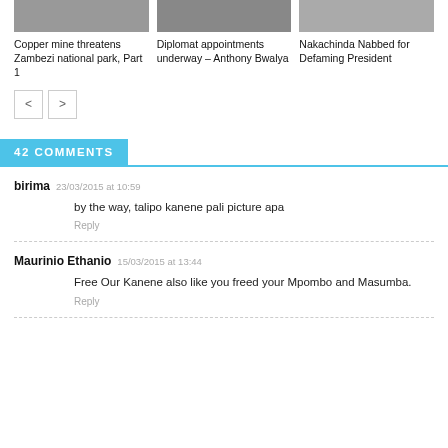[Figure (photo): Three article thumbnail images in a row]
Copper mine threatens Zambezi national park, Part 1
Diplomat appointments underway – Anthony Bwalya
Nakachinda Nabbed for Defaming President
42 COMMENTS
birima  23/03/2015 at 10:59
by the way, talipo kanene pali picture apa
Reply
Maurinio Ethanio  15/03/2015 at 13:44
Free Our Kanene also like you freed your Mpombo and Masumba.
Reply